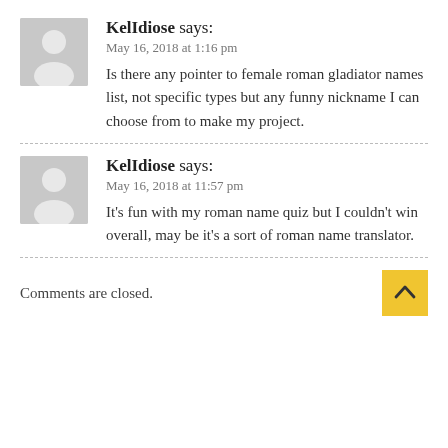KelIdiose says:
May 16, 2018 at 1:16 pm
Is there any pointer to female roman gladiator names list, not specific types but any funny nickname I can choose from to make my project.
KelIdiose says:
May 16, 2018 at 11:57 pm
It's fun with my roman name quiz but I couldn't win overall, may be it's a sort of roman name translator.
Comments are closed.